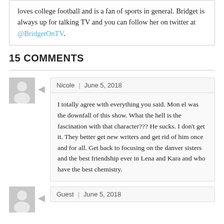loves college football and is a fan of sports in general. Bridget is always up for talking TV and you can follow her on twitter at @BridgetOnTV.
15 COMMENTS
Nicole | June 5, 2018
I totally agree with everything you said. Mon el was the downfall of this show. What the hell is the fascination with that character??? He sucks. I don't get it. They better get new writers and get rid of him once and for all. Get back to focusing on the danver sisters and the best friendship ever in Lena and Kara and who have the best chemistry.
Guest | June 5, 2018